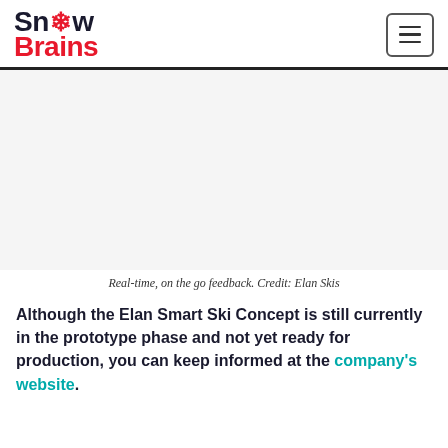Snow Brains
[Figure (photo): Large image placeholder showing real-time on the go feedback from Elan Skis (image area appears blank/white in this page view)]
Real-time, on the go feedback. Credit: Elan Skis
Although the Elan Smart Ski Concept is still currently in the prototype phase and not yet ready for production, you can keep informed at the company's website.